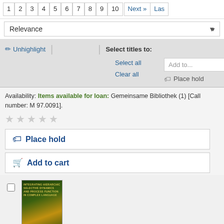1 2 3 4 5 6 7 8 9 10 Next » Las
Relevance
✏ Unhighlight | | Select titles to:
Select all
Add to... Save
Clear all
🔖 Place hold
Availability: Items available for loan: Gemeinsame Bibliothek (1) [Call number: M 97.0091].
[Figure (other): Five empty star rating icons]
🔖 Place hold
🛒 Add to cart
[Figure (photo): Book cover thumbnail for a book about hierarchical behavior dynamics and process complexity, with dark green and yellow cover design]